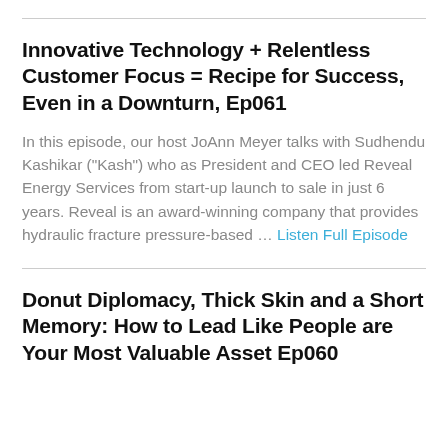Innovative Technology + Relentless Customer Focus = Recipe for Success, Even in a Downturn, Ep061
In this episode, our host JoAnn Meyer talks with Sudhendu Kashikar ("Kash") who as President and CEO led Reveal Energy Services from start-up launch to sale in just 6 years. Reveal is an award-winning company that provides hydraulic fracture pressure-based … Listen Full Episode
Donut Diplomacy, Thick Skin and a Short Memory: How to Lead Like People are Your Most Valuable Asset Ep060